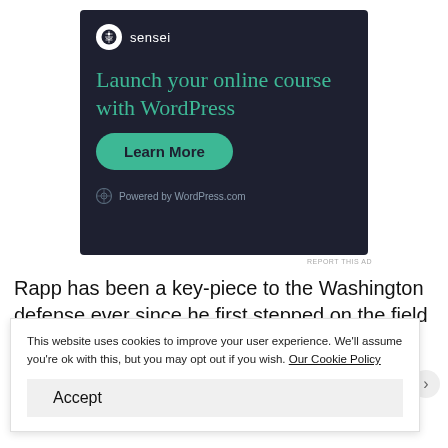[Figure (other): Sensei advertisement banner on dark background. Logo: circle with tree icon and 'sensei' text. Headline: 'Launch your online course with WordPress'. Teal 'Learn More' button. Footer: WordPress logo and 'Powered by WordPress.com' text.]
REPORT THIS AD
Rapp has been a key-piece to the Washington defense ever since he first stepped on the field for them because of the versatility he presents. Similar to Budda Baker, couple of
This website uses cookies to improve your user experience. We'll assume you're ok with this, but you may opt out if you wish. Our Cookie Policy
Accept